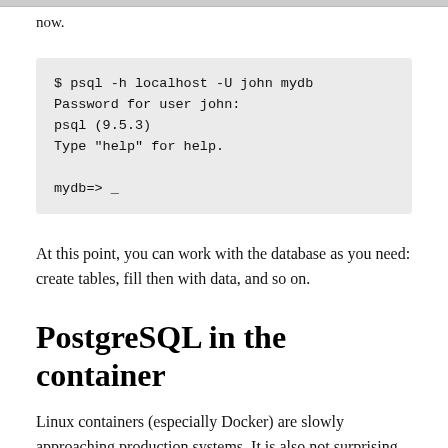now.
$ psql -h localhost -U john mydb
Password for user john:
psql (9.5.3)
Type "help" for help.

mydb=> _
At this point, you can work with the database as you need: create tables, fill then with data, and so on.
PostgreSQL in the container
Linux containers (especially Docker) are slowly approaching production systems. It is also not surprising